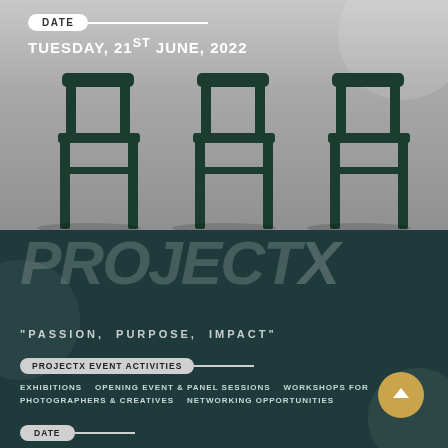DATE
TUESDAY, 21ST JUNE, 2022
[Figure (photo): Three dark green wooden chairs arranged side by side against a grey gradient background]
PROJECT X
"PASSION, PURPOSE, IMPACT"
PROJECTX EVENT ACTIVITIES
EXHIBITIONS   OPENING EVENT & PANEL SESSIONS   WORKSHOPS FOR PHOTOGRAPHERS & CREATIVES   NETWORKING OPPORTUNITIES
DATE